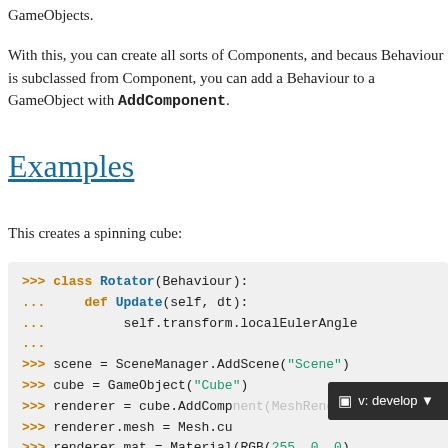GameObjects.
With this, you can create all sorts of Components, and because Behaviour is subclassed from Component, you can add a Behaviour to a GameObject with AddComponent.
Examples
This creates a spinning cube:
[Figure (screenshot): Code block showing Python REPL code for creating a spinning cube using Rotator class, SceneManager, GameObject, and Material.]